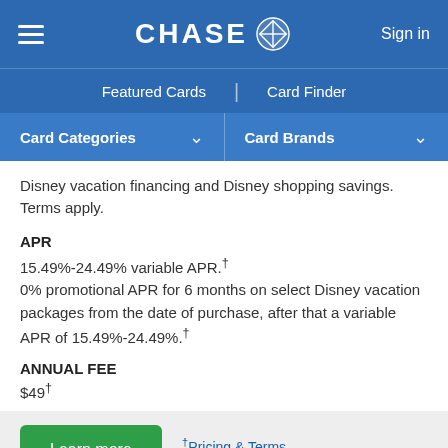CHASE  Sign in
Featured Cards | Card Finder
Card Categories   Card Brands
Disney vacation financing and Disney shopping savings. Terms apply.
APR
15.49%-24.49% variable APR.†
0% promotional APR for 6 months on select Disney vacation packages from the date of purchase, after that a variable APR of 15.49%-24.49%.†
ANNUAL FEE
$49†
Learn more
†Pricing & Terms
Rewards Terms &